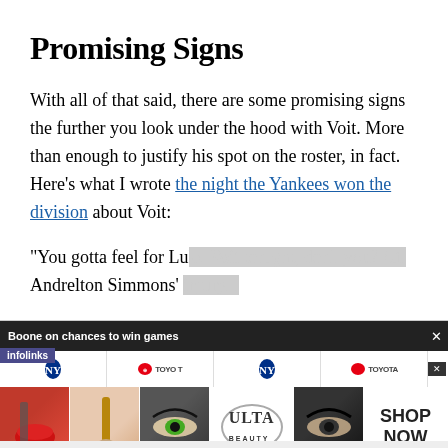Promising Signs
With all of that said, there are some promising signs the further you look under the hood with Voit. More than enough to justify his spot on the roster, in fact. Here’s what I wrote the night the Yankees won the division about Voit:
“You gotta feel for Lu[ke Voit tonight, don’t you? Aft]er Andrelton Simmons’ [injury...] [con]tinued to sma[sh...]
[Figure (screenshot): Video overlay popup: 'Boone on chances to win games' with close button (x), showing Yankees/Toyota logos. Below: infolinks badge, ad banner with Ulta Beauty images and 'SHOP NOW' call to action.]